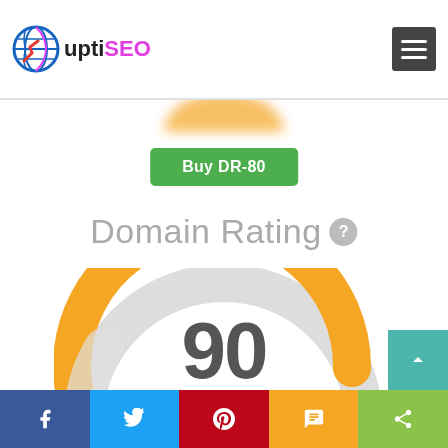uptiSEO - navigation header with logo and hamburger menu
Buy DR-80
Domain Rating
[Figure (infographic): Domain Rating gauge/donut showing score of 90, with orange arc filling most of the circle from bottom-left around to bottom-right, center displays the number 90 in large bold gray text]
Social share bar: Facebook, Twitter, Pinterest, SMS, Share